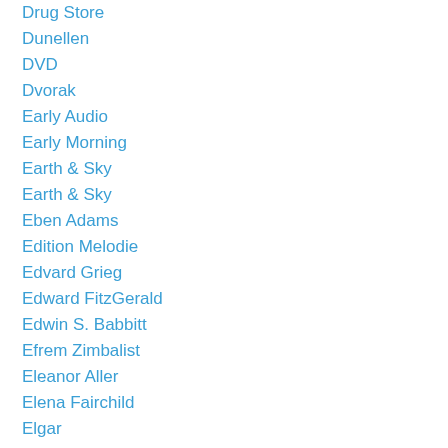Drug Store
Dunellen
DVD
Dvorak
Early Audio
Early Morning
Earth & Sky
Earth & Sky
Eben Adams
Edition Melodie
Edvard Grieg
Edward FitzGerald
Edwin S. Babbitt
Efrem Zimbalist
Eleanor Aller
Elena Fairchild
Elgar
Elia Kazan
Elsie M Bennett
Elsie M Blum
Emeric Pressburger